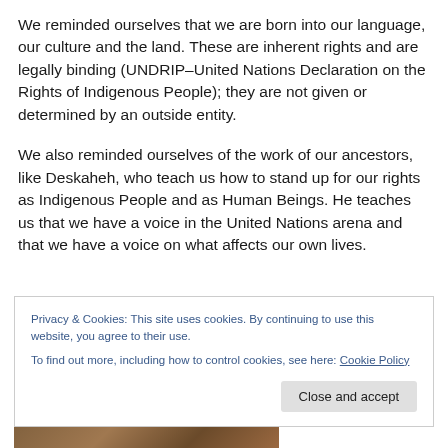We reminded ourselves that we are born into our language, our culture and the land. These are inherent rights and are legally binding (UNDRIP–United Nations Declaration on the Rights of Indigenous People); they are not given or determined by an outside entity.
We also reminded ourselves of the work of our ancestors, like Deskaheh, who teach us how to stand up for our rights as Indigenous People and as Human Beings. He teaches us that we have a voice in the United Nations arena and that we have a voice on what affects our own lives.
Privacy & Cookies: This site uses cookies. By continuing to use this website, you agree to their use.
To find out more, including how to control cookies, see here: Cookie Policy
[Figure (photo): Partial view of a photo strip at the bottom of the page, showing a warm-toned image, partially cropped]